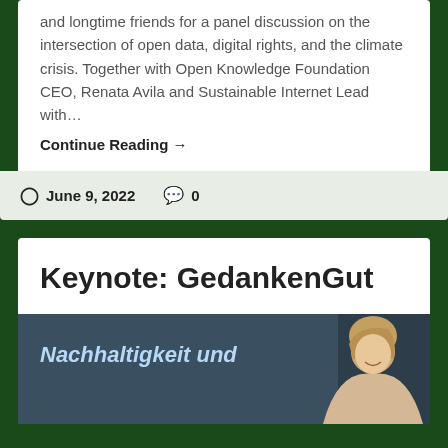and longtime friends for a panel discussion on the intersection of open data, digital rights, and the climate crisis. Together with Open Knowledge Foundation CEO, Renata Avila and Sustainable Internet Lead with…
Continue Reading →
June 9, 2022   0
Keynote: GedankenGut
[Figure (photo): A person speaking at a conference in front of a projection screen showing 'Nachhaltigkeit und' text]